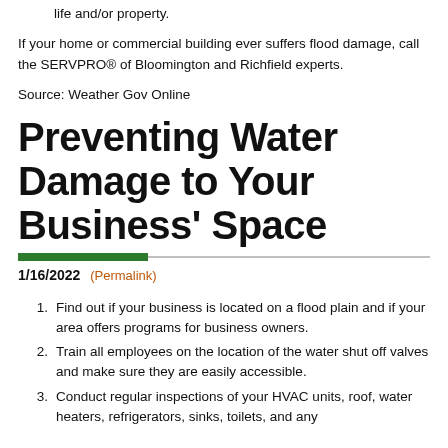life and/or property.
If your home or commercial building ever suffers flood damage, call the SERVPRO® of Bloomington and Richfield experts.
Source: Weather Gov Online
Preventing Water Damage to Your Business' Space
1/16/2022 (Permalink)
Find out if your business is located on a flood plain and if your area offers programs for business owners.
Train all employees on the location of the water shut off valves and make sure they are easily accessible.
Conduct regular inspections of your HVAC units, roof, water heaters, refrigerators, sinks, toilets, and any